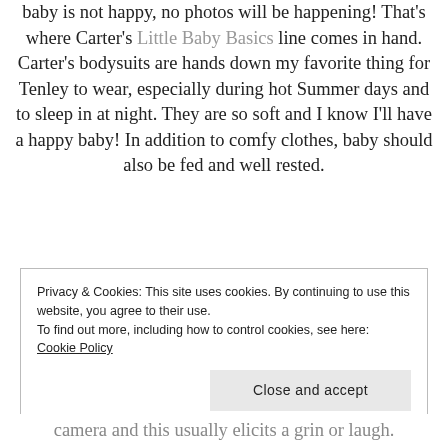baby is not happy, no photos will be happening! That's where Carter's Little Baby Basics line comes in hand. Carter's bodysuits are hands down my favorite thing for Tenley to wear, especially during hot Summer days and to sleep in at night. They are so soft and I know I'll have a happy baby! In addition to comfy clothes, baby should also be fed and well rested.
Privacy & Cookies: This site uses cookies. By continuing to use this website, you agree to their use. To find out more, including how to control cookies, see here: Cookie Policy
camera and this usually elicits a grin or laugh.